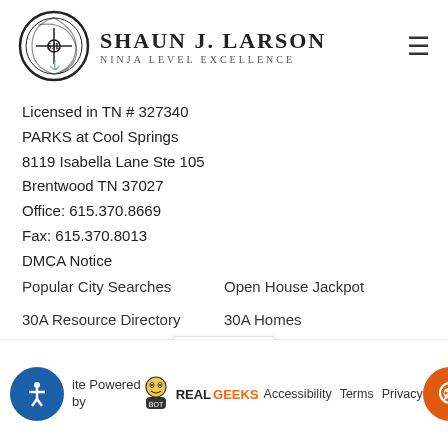[Figure (logo): Shaun J. Larson Ninja Level Excellence logo with circular emblem and text]
Licensed in TN # 327340
PARKS at Cool Springs
8119 Isabella Lane Ste 105
Brentwood TN 37027
Office: 615.370.8669
Fax: 615.370.8013
DMCA Notice
Popular City Searches
Open House Jackpot
30A Resource Directory
30A Homes
Site Powered by  RealGeeks  Accessibility  Terms  Privacy